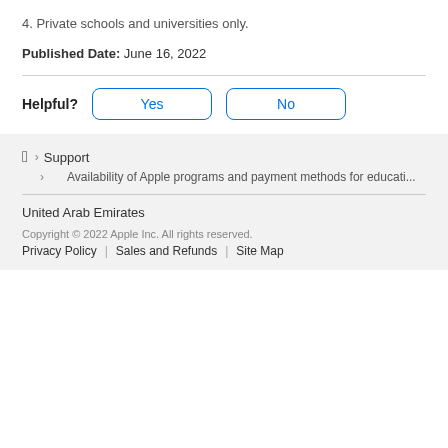4. Private schools and universities only.
Published Date: June 16, 2022
Helpful? Yes No
Apple > Support
> Availability of Apple programs and payment methods for educati...
United Arab Emirates
Copyright © 2022 Apple Inc. All rights reserved.
Privacy Policy | Sales and Refunds | Site Map